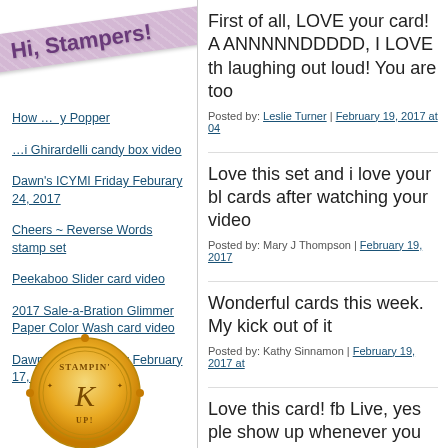[Figure (illustration): Decorative ribbon banner with text 'Hi, Stampers!' in purple on a lavender diagonal ribbon with dot pattern]
How ... y Popper
... Ghirardelli candy box video
Dawn's ICYMI Friday Feburary 24, 2017
Cheers ~ Reverse Words stamp set
Peekaboo Slider card video
2017 Sale-a-Bration Glimmer Paper Color Wash card video
Dawn's ICYMI Friday February 17, 2017
[Figure (logo): Stampin' Up! circular gold logo/seal at bottom of left column]
First of all, LOVE your card! A ANNNNNDDDDD, I LOVE th laughing out loud! You are too
Posted by: Leslie Turner | February 19, 2017 at 04
Love this set and i love your bl cards after watching your video
Posted by: Mary J Thompson | February 19, 2017
Wonderful cards this week. My kick out of it
Posted by: Kathy Sinnamon | February 19, 2017 at
Love this card! fb Live, yes ple show up whenever you broadca